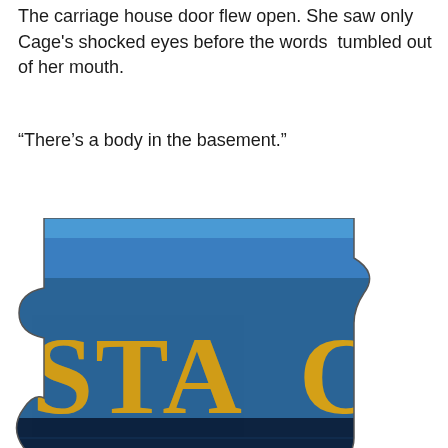The carriage house door flew open. She saw only Cage's shocked eyes before the words tumbled out of her mouth.
“There’s a body in the basement.”
[Figure (illustration): A jigsaw puzzle piece showing a book cover fragment with yellow text 'STAC' on a dark blue background, with a small reflected landscape scene at the bottom of the piece.]
[Figure (illustration): A jigsaw puzzle piece showing a close-up of a building with classical columns and a blue sky, set against a dark background. The piece is partially cut off at the right edge.]